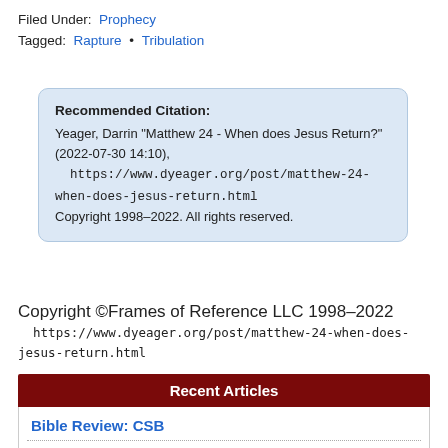Filed Under: Prophecy
Tagged: Rapture • Tribulation
Recommended Citation:
Yeager, Darrin "Matthew 24 - When does Jesus Return?" (2022-07-30 14:10),
  https://www.dyeager.org/post/matthew-24-when-does-jesus-return.html
Copyright 1998–2022. All rights reserved.
Copyright ©Frames of Reference LLC 1998–2022
  https://www.dyeager.org/post/matthew-24-when-does-jesus-return.html
Recent Articles
Bible Review: CSB
Fluff